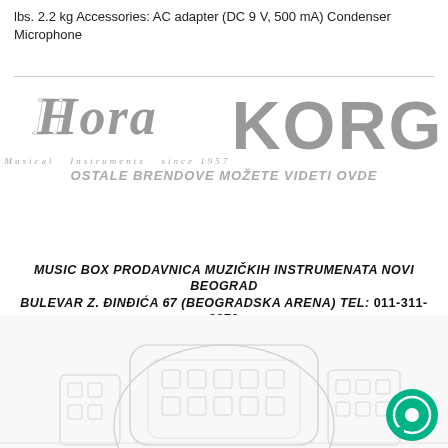lbs. 2.2 kg Accessories: AC adapter (DC 9 V, 500 mA) Condenser Microphone
[Figure (logo): HORA Musical Instruments since 1957 logo and KORG logo side by side, with text OSTALE BRENDOVE MOŽETE VIDETI OVDE below]
MUSIC BOX PRODAVNICA MUZIČKIH INSTRUMENATA NOVI BEOGRAD BULEVAR Z. ĐINĐIĆA 67 (BEOGRADSKA ARENA) TEL: 011-311-8970
[Figure (illustration): Line drawing illustration of a large building (Beogradska Arena) with a green chat button in the bottom right corner]